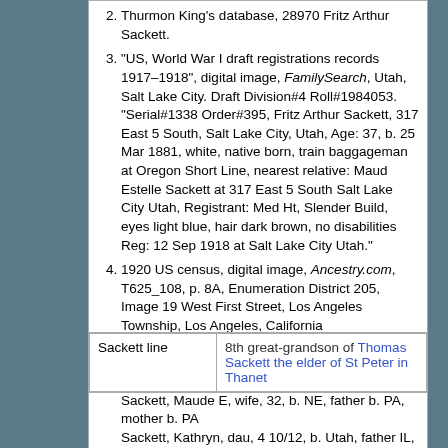Thurmon King's database, 28970 Fritz Arthur Sackett.
"US, World War I draft registrations records 1917–1918", digital image, FamilySearch, Utah, Salt Lake City. Draft Division#4 Roll#1984053. "Serial#1338 Order#395, Fritz Arthur Sackett, 317 East 5 South, Salt Lake City, Utah, Age: 37, b. 25 Mar 1881, white, native born, train baggageman at Oregon Short Line, nearest relative: Maud Estelle Sackett at 317 East 5 South Salt Lake City Utah, Registrant: Med Ht, Slender Build, eyes light blue, hair dark brown, no disabilities Reg: 12 Sep 1918 at Salt Lake City Utah."
1920 US census, digital image, Ancestry.com, T625_108, p. 8A, Enumeration District 205, Image 19 West First Street, Los Angeles Township, Los Angeles, California Sackett, Fritz, head, home rented, 37, married, b. IL, father b. IL, mother b. NY, train baggage, railroad Sackett, Maude E, wife, 32, b. NE, father b. PA, mother b. PA Sackett, Kathryn, dau, 4 10/12, b. Utah, father IL, mother b. NE.
|  |  |
| --- | --- |
| Sackett line | 8th great-grandson of Thomas Sackett the elder of St Peter in Thanet |